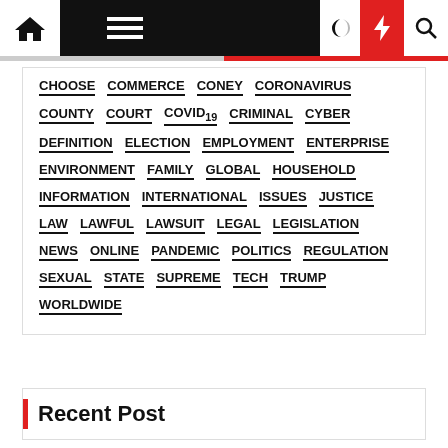Navigation bar with home, menu, moon, bolt, search icons
CHOOSE
COMMERCE
CONEY
CORONAVIRUS
COUNTY
COURT
COVID19
CRIMINAL
CYBER
DEFINITION
ELECTION
EMPLOYMENT
ENTERPRISE
ENVIRONMENT
FAMILY
GLOBAL
HOUSEHOLD
INFORMATION
INTERNATIONAL
ISSUES
JUSTICE
LAW
LAWFUL
LAWSUIT
LEGAL
LEGISLATION
NEWS
ONLINE
PANDEMIC
POLITICS
REGULATION
SEXUAL
STATE
SUPREME
TECH
TRUMP
WORLDWIDE
Recent Post